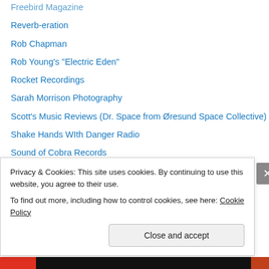Freebird Magazine
Reverb-eration
Rob Chapman
Rob Young's "Electric Eden"
Rocket Recordings
Sarah Morrison Photography
Scott's Music Reviews (Dr. Space from Øresund Space Collective)
Shake Hands WIth Danger Radio
Sound of Cobra Records
Spot-On Sound
Steady Sounds
Sunrise Ocean Bender
Swamp Booking
Swirling Thoughts for the Soul
Privacy & Cookies: This site uses cookies. By continuing to use this website, you agree to their use. To find out more, including how to control cookies, see here: Cookie Policy
Close and accept